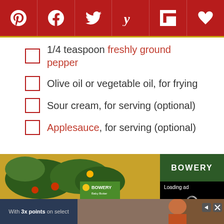[Figure (other): Social media sharing bar with Pinterest, Facebook, Twitter, Yummly, Flipboard, and heart/save icons on dark red background]
1/4 teaspoon freshly ground pepper
Olive oil or vegetable oil, for frying
Sour cream, for serving (optional)
Applesauce, for serving (optional)
[Figure (photo): Bowery Farming advertisement showing salad greens on a plate with Bowery branded packaging. A video ad overlay shows 'Loading ad' with a spinner and playback controls.]
[Figure (other): Bottom advertisement banner: 'With 3x points on select' with a photo of a man in orange shirt]